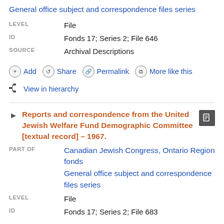General office subject and correspondence files series
LEVEL	File
ID	Fonds 17; Series 2; File 646
SOURCE	Archival Descriptions
Add
Share
Permalink
More like this
View in hierarchy
Reports and correspondence from the United Jewish Welfare Fund Demographic Committee [textual record] – 1967.
PART OF	Canadian Jewish Congress, Ontario Region fonds
General office subject and correspondence files series
LEVEL	File
ID	Fonds 17; Series 2; File 683